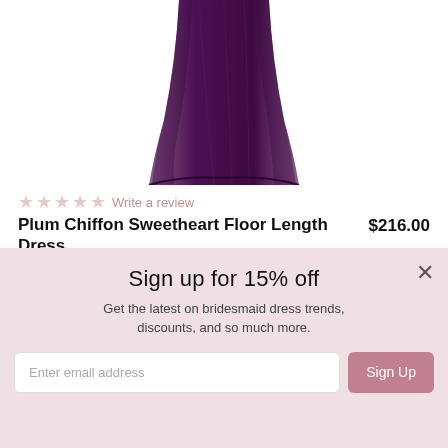[Figure (photo): Bottom portion of a plum/purple chiffon floor-length dress, showing the flowing skirt and hem on a white background]
★ ★ ★ ★ ★ Write a review
Plum Chiffon Sweetheart Floor Length Dress  $216.00
or 4 interest-free installments of $54.00 by afterpay
Style 1121
Sign up for 15% off
Get the latest on bridesmaid dress trends, discounts, and so much more.
Enter email address
Sign Up